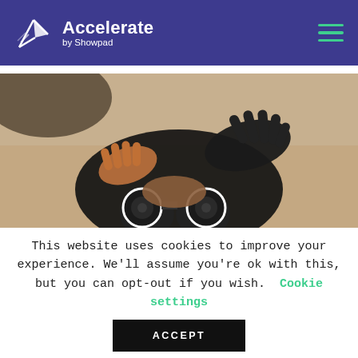Accelerate by Showpad
[Figure (photo): Person looking through binoculars, viewed from above; hands raised on either side of binoculars against a blurred sandy/earthy background.]
This website uses cookies to improve your experience. We'll assume you're ok with this, but you can opt-out if you wish.    Cookie settings
ACCEPT